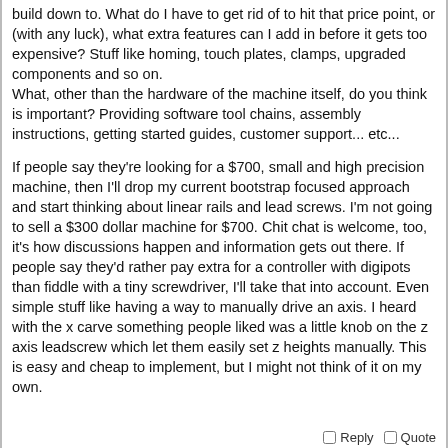build down to. What do I have to get rid of to hit that price point, or (with any luck), what extra features can I add in before it gets too expensive? Stuff like homing, touch plates, clamps, upgraded components and so on.
What, other than the hardware of the machine itself, do you think is important? Providing software tool chains, assembly instructions, getting started guides, customer support... etc...
If people say they're looking for a $700, small and high precision machine, then I'll drop my current bootstrap focused approach and start thinking about linear rails and lead screws. I'm not going to sell a $300 dollar machine for $700. Chit chat is welcome, too, it's how discussions happen and information gets out there. If people say they'd rather pay extra for a controller with digipots than fiddle with a tiny screwdriver, I'll take that into account. Even simple stuff like having a way to manually drive an axis. I heard with the x carve something people liked was a little knob on the z axis leadscrew which let them easily set z heights manually. This is easy and cheap to implement, but I might not think of it on my own.
Reply   Quote